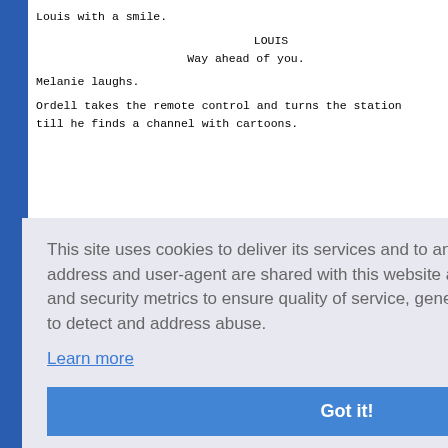Louis with a smile.
LOUIS
Way ahead of you.
Melanie laughs.
Ordell takes the remote control and turns the station till he finds a channel with cartoons.
This site uses cookies to deliver its services and to analyze traffic. Your IP address and user-agent are shared with this website along with performance and security metrics to ensure quality of service, generate usage statistics, and to detect and address abuse.
Learn more
Got it!
ORDELL
Try not to rip his clothes off 'em